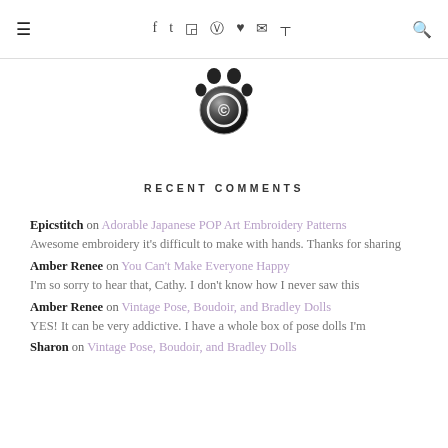≡ f t ☷ ℗ ♥ ✉ ))) 🔍
[Figure (logo): Paw print logo with copyright symbol, black and white, circular]
RECENT COMMENTS
Epicstitch on Adorable Japanese POP Art Embroidery Patterns – Awesome embroidery it's difficult to make with hands. Thanks for sharing
Amber Renee on You Can't Make Everyone Happy – I'm so sorry to hear that, Cathy. I don't know how I never saw this
Amber Renee on Vintage Pose, Boudoir, and Bradley Dolls – YES! It can be very addictive. I have a whole box of pose dolls I'm
Sharon on Vintage Pose, Boudoir, and Bradley Dolls